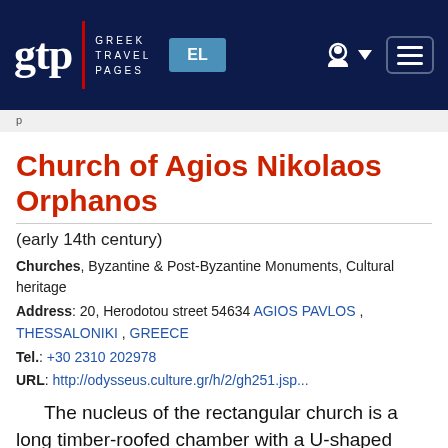gtp | GREEK TRAVEL PAGES | EL
Church of Agios Nikolaos Orphanos
(early 14th century)
Churches, Byzantine & Post-Byzantine Monuments, Cultural heritage
Address: 20, Herodotou street 54634 AGIOS PAVLOS , THESSALONIKI , GREECE
Tel.: +30 2310 202978
URL: http://odysseus.culture.gr/h/2/gh251.jsp...
The nucleus of the rectangular church is a long timber-roofed chamber with a U-shaped ambulatory along the three sides and a